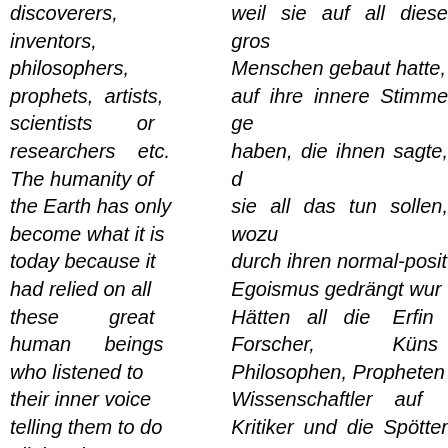discoverers, inventors, philosophers, prophets, artists, scientists or researchers etc. The humanity of the Earth has only become what it is today because it had relied on all these great human beings who listened to their inner voice telling them to do all that they were urged to do by their normal positive
weil sie auf all diese gros Menschen gebaut hatte, auf ihre innere Stimme ge haben, die ihnen sagte, d sie all das tun sollen, wozu durch ihren normal-posit Egoismus gedrängt wur Hätten all die Erfin Forscher, Küns Philosophen, Propheten Wissenschaftler auf Kritiker und die Spötter ge dann stünde heute irdische Menschheit nich einer Zeit der ho Entwicklung der Tech Medizin und allgeme Wissenschaften usw., son sie würde noch in Hö herumkriechen und sich